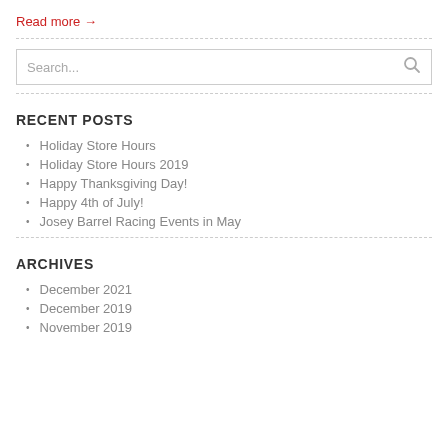Read more →
RECENT POSTS
Holiday Store Hours
Holiday Store Hours 2019
Happy Thanksgiving Day!
Happy 4th of July!
Josey Barrel Racing Events in May
ARCHIVES
December 2021
December 2019
November 2019